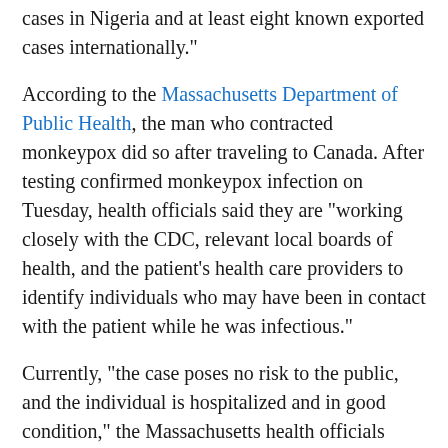cases in Nigeria and at least eight known exported cases internationally."
According to the Massachusetts Department of Public Health, the man who contracted monkeypox did so after traveling to Canada. After testing confirmed monkeypox infection on Tuesday, health officials said they are "working closely with the CDC, relevant local boards of health, and the patient's health care providers to identify individuals who may have been in contact with the patient while he was infectious."
Currently, "the case poses no risk to the public, and the individual is hospitalized and in good condition," the Massachusetts health officials said.
They added that "no monkeypox cases have previously been identified in the United States in 2022; Texas and Maryland each reported a case in 2021 in people with recent travel to Nigeria."
According to The New York Times, Britain has so far